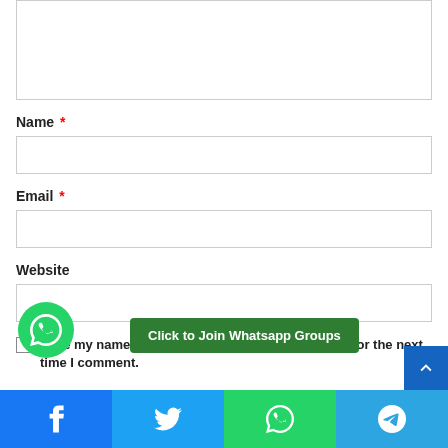[Figure (screenshot): Textarea input field stub (top portion of a comment form)]
Name *
[Figure (screenshot): Name input field]
Email *
[Figure (screenshot): Email input field]
Website
[Figure (screenshot): Website input field]
Save my name, email, and website in this browser for the next ti...am...
[Figure (infographic): WhatsApp floating action button (green circle with WhatsApp icon)]
[Figure (infographic): Click to Join Whatsapp Groups green button]
[Figure (infographic): Scroll to top blue button (top-right)]
[Figure (infographic): Social share bar: Facebook (blue), Twitter (light blue), WhatsApp (green), Telegram (sky blue) buttons with icons]